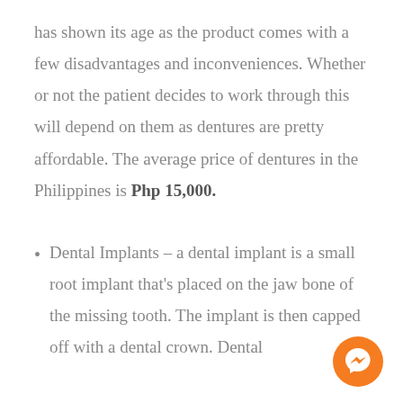has shown its age as the product comes with a few disadvantages and inconveniences. Whether or not the patient decides to work through this will depend on them as dentures are pretty affordable. The average price of dentures in the Philippines is Php 15,000.
Dental Implants – a dental implant is a small root implant that's placed on the jaw bone of the missing tooth. The implant is then capped off with a dental crown. Dental
[Figure (other): Orange Messenger chat button icon in bottom right corner]